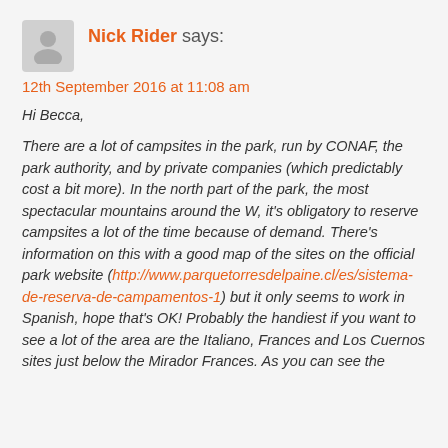Nick Rider says:
12th September 2016 at 11:08 am
Hi Becca,

There are a lot of campsites in the park, run by CONAF, the park authority, and by private companies (which predictably cost a bit more). In the north part of the park, the most spectacular mountains around the W, it's obligatory to reserve campsites a lot of the time because of demand. There's information on this with a good map of the sites on the official park website (http://www.parquetorresdelpaine.cl/es/sistema-de-reserva-de-campamentos-1) but it only seems to work in Spanish, hope that's OK! Probably the handiest if you want to see a lot of the area are the Italiano, Frances and Los Cuernos sites just below the Mirador Frances. As you can see the